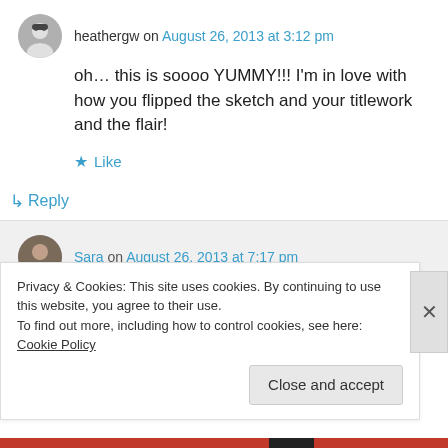heathergw on August 26, 2013 at 3:12 pm
oh… this is soooo YUMMY!!! I'm in love with how you flipped the sketch and your titlework and the flair!
Like
Reply
Sara on August 26, 2013 at 7:17 pm
Privacy & Cookies: This site uses cookies. By continuing to use this website, you agree to their use.
To find out more, including how to control cookies, see here: Cookie Policy
Close and accept